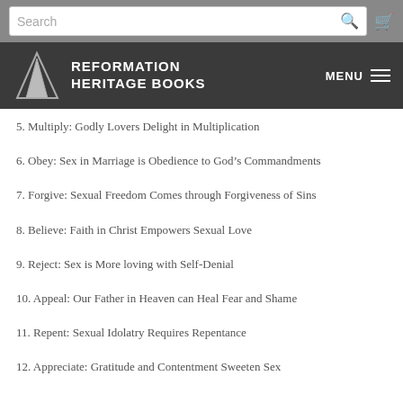Reformation Heritage Books
5. Multiply: Godly Lovers Delight in Multiplication
6. Obey: Sex in Marriage is Obedience to God's Commandments
7. Forgive: Sexual Freedom Comes through Forgiveness of Sins
8. Believe: Faith in Christ Empowers Sexual Love
9. Reject: Sex is More loving with Self-Denial
10. Appeal: Our Father in Heaven can Heal Fear and Shame
11. Repent: Sexual Idolatry Requires Repentance
12. Appreciate: Gratitude and Contentment Sweeten Sex